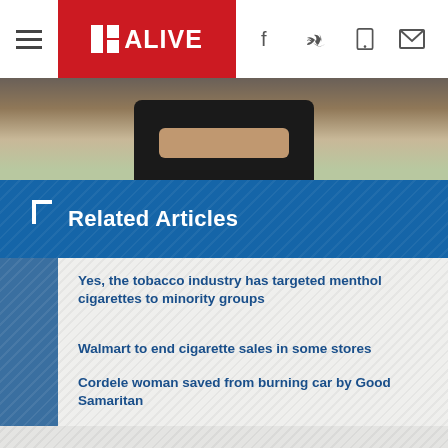11 ALIVE
[Figure (photo): Person sitting with arms crossed/folded, outdoor setting with grass and pavement visible]
Related Articles
Yes, the tobacco industry has targeted menthol cigarettes to minority groups
Walmart to end cigarette sales in some stores
Cordele woman saved from burning car by Good Samaritan